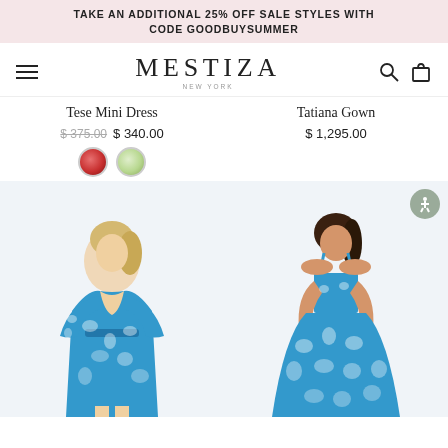TAKE AN ADDITIONAL 25% OFF SALE STYLES WITH CODE GOODBUYSUMMER
[Figure (screenshot): Mestiza New York e-commerce website header with hamburger menu, MESTIZA NEW YORK logo, search and cart icons]
Tese Mini Dress
$ 375.00  $ 340.00
Tatiana Gown
$ 1,295.00
[Figure (photo): Model wearing a blue and white floral printed wrap kimono-style mini dress]
[Figure (photo): Model wearing a blue and white floral printed spaghetti-strap midi dress with full skirt]